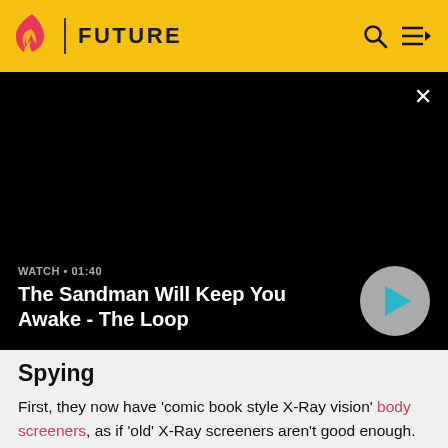FUTURE
[Figure (screenshot): Black video player panel with close button, watch label '01:40', video title 'The Sandman Will Keep You Awake - The Loop', and a circular play button]
Spying
First, they now have 'comic book style X-Ray vision' body screeners, as if 'old' X-Ray screeners aren't good enough. Second, DARPA is developing devices that can see through concrete walls, that they also intend to use with